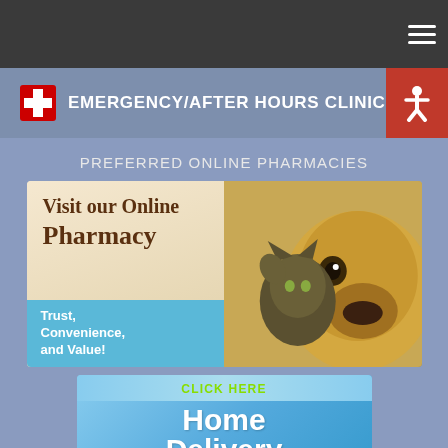EMERGENCY/AFTER HOURS CLINICS
PREFERRED ONLINE PHARMACIES
[Figure (illustration): Online Pharmacy advertisement banner showing a cat and dog with text 'Visit our Online Pharmacy - Trust, Convenience, and Value!']
[Figure (illustration): Home Delivery advertisement banner with text 'CLICK HERE - Home Delivery of medications and pet nutrition.']